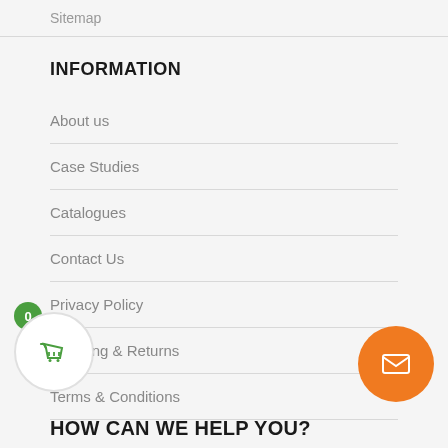Sitemap
INFORMATION
About us
Case Studies
Catalogues
Contact Us
Privacy Policy
Shipping & Returns
Terms & Conditions
HOW CAN WE HELP YOU?